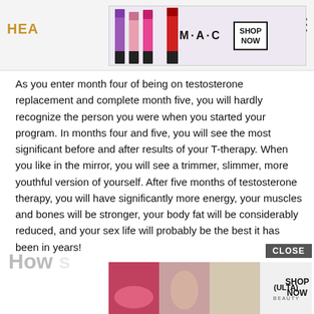HEA
[Figure (illustration): MAC cosmetics advertisement banner showing colorful lipsticks and SHOP NOW button]
As you enter month four of being on testosterone replacement and complete month five, you will hardly recognize the person you were when you started your program. In months four and five, you will see the most significant before and after results of your T-therapy. When you like in the mirror, you will see a trimmer, slimmer, more youthful version of yourself. After five months of testosterone therapy, you will have significantly more energy, your muscles and bones will be stronger, your body fat will be considerably reduced, and your sex life will probably be the best it has been in years!
Ho...s
[Figure (illustration): ULTA beauty advertisement banner showing makeup products and models with SHOP NOW button and CLOSE label]